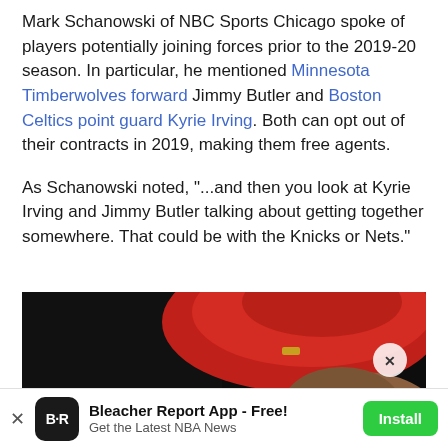Mark Schanowski of NBC Sports Chicago spoke of players potentially joining forces prior to the 2019-20 season. In particular, he mentioned Minnesota Timberwolves forward Jimmy Butler and Boston Celtics point guard Kyrie Irving. Both can opt out of their contracts in 2019, making them free agents.
As Schanowski noted, "...and then you look at Kyrie Irving and Jimmy Butler talking about getting together somewhere. That could be with the Knicks or Nets."
[Figure (photo): Dark image showing a person wearing a red hat, partially visible face, with a close button overlay]
Bleacher Report App - Free! Get the Latest NBA News